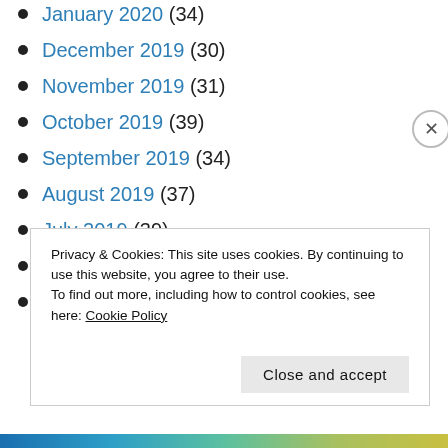January 2020 (34)
December 2019 (30)
November 2019 (31)
October 2019 (39)
September 2019 (34)
August 2019 (37)
July 2019 (39)
June 2019 (27)
May 2019 (36)
Privacy & Cookies: This site uses cookies. By continuing to use this website, you agree to their use. To find out more, including how to control cookies, see here: Cookie Policy
Close and accept